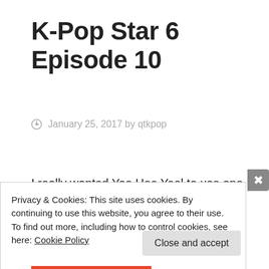K-Pop Star 6 Episode 10
January 25, 2017 by qtkpop
I really wanted Yoo Hee Yeol to use one of his priority cards for a trainee. And then get the trainee.
Privacy & Cookies: This site uses cookies. By continuing to use this website, you agree to their use.
To find out more, including how to control cookies, see here: Cookie Policy
Close and accept